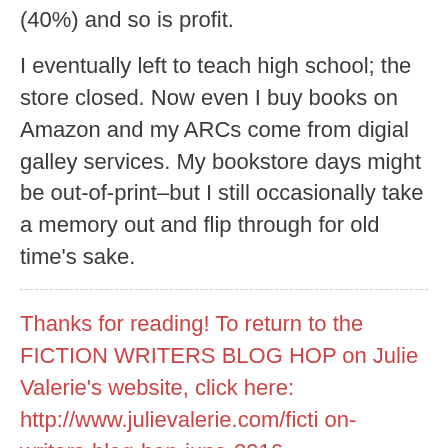(40%) and so is profit.
I eventually left to teach high school; the store closed. Now even I buy books on Amazon and my ARCs come from digial galley services. My bookstore days might be out-of-print–but I still occasionally take a memory out and flip through for old time's sake.
Thanks for reading! To return to the FICTION WRITERS BLOG HOP on Julie Valerie's website, click here: http://www.julievalerie.com/fiction-writers-blog-hop-june-2016